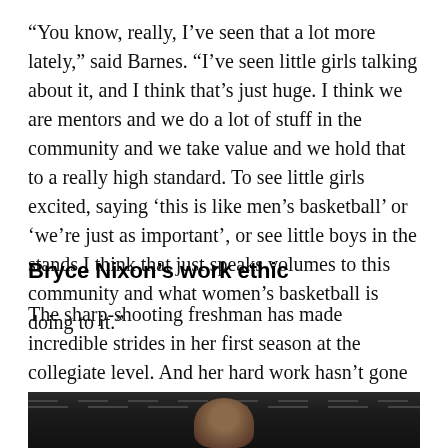“You know, really, I’ve seen that a lot more lately,” said Barnes. “I’ve seen little girls talking about it, and I think that’s just huge. I think we are mentors and we do a lot of stuff in the community and we take value and we hold that to a really high standard. To see little girls excited, saying ‘this is like men’s basketball’ or ‘we’re just as important’, or see little boys in the stands I think that just speaks volumes to this community and what women’s basketball is doing to it.”
Bryce Nixon’s work ethic
The sharp-shooting freshman has made incredible strides in her first season at the collegiate level. And her hard work hasn’t gone unnoticed.
[Figure (photo): A basketball player photographed against a dark background, partially visible at the bottom of the page.]